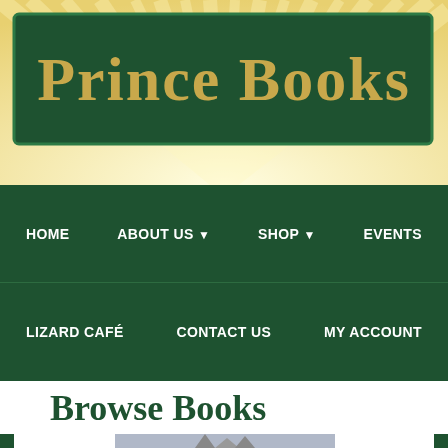[Figure (logo): Prince Books store logo — dark green banner with gold serif text reading 'Prince Books', set against a yellow sunburst background]
HOME  ABOUT US  SHOP  EVENTS  LIZARD CAFÉ  CONTACT US  MY ACCOUNT
Browse Books
[Figure (photo): Photograph of a Gothic cathedral with tall spires, partially visible at the bottom of the page]